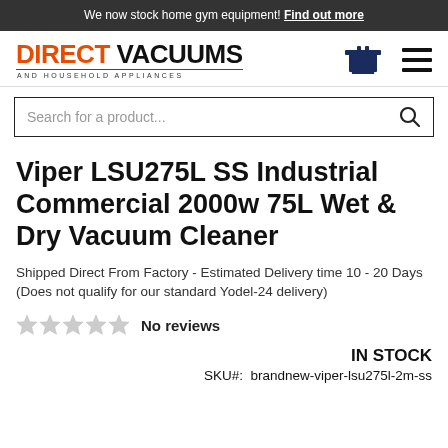We now stock home gym equipment! Find out more
[Figure (logo): Direct Vacuums and Household Appliances logo with cart and menu icons]
Search for a product...
Viper LSU275L SS Industrial Commercial 2000w 75L Wet & Dry Vacuum Cleaner
Shipped Direct From Factory - Estimated Delivery time 10 - 20 Days (Does not qualify for our standard Yodel-24 delivery)
No reviews
IN STOCK
SKU#:  brandnew-viper-lsu275l-2m-ss